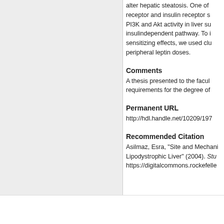[Figure (other): Left gray panel, likely a document thumbnail or cover image placeholder]
alter hepatic steatosis. One of receptor and insulin receptor s PI3K and Akt activity in liver su insulindependent pathway. To i sensitizing effects, we used clu peripheral leptin doses.
Comments
A thesis presented to the facul requirements for the degree of
Permanent URL
http://hdl.handle.net/10209/197
Recommended Citation
Asilmaz, Esra, "Site and Mechani Lipodystrophic Liver" (2004). Stu https://digitalcommons.rockefelle
[Figure (logo): DigitalCommons powered by bepress logo]
Home | About | FAQ | My A Privacy   Copyright